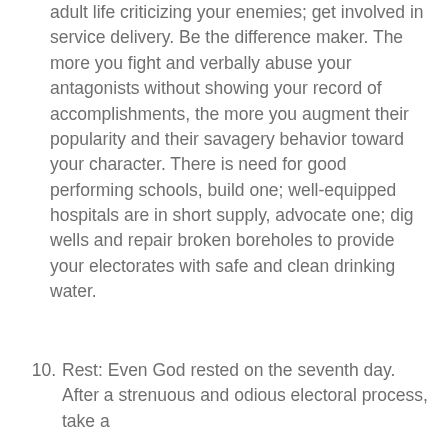adult life criticizing your enemies; get involved in service delivery. Be the difference maker. The more you fight and verbally abuse your antagonists without showing your record of accomplishments, the more you augment their popularity and their savagery behavior toward your character. There is need for good performing schools, build one; well-equipped hospitals are in short supply, advocate one; dig wells and repair broken boreholes to provide your electorates with safe and clean drinking water.
10. Rest: Even God rested on the seventh day. After a strenuous and odious electoral process, take a